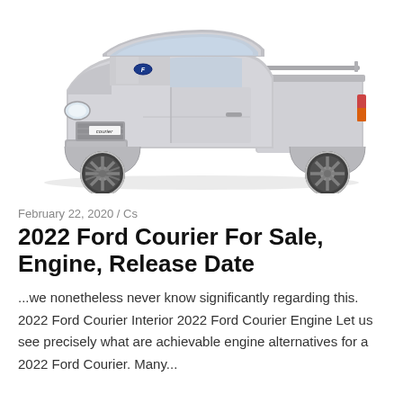[Figure (photo): Silver Ford Courier pickup truck, side-front view on white background, with 'courier' badge on the grille area.]
February 22, 2020 / Cs
2022 Ford Courier For Sale, Engine, Release Date
...we nonetheless never know significantly regarding this. 2022 Ford Courier Interior 2022 Ford Courier Engine Let us see precisely what are achievable engine alternatives for a 2022 Ford Courier. Many...